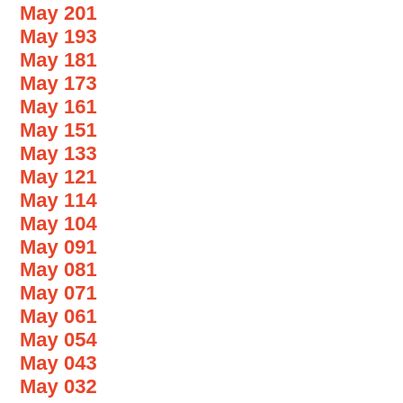May 201
May 193
May 181
May 173
May 161
May 151
May 133
May 121
May 114
May 104
May 091
May 081
May 071
May 061
May 054
May 043
May 032
May 022
May 011
Apr 000